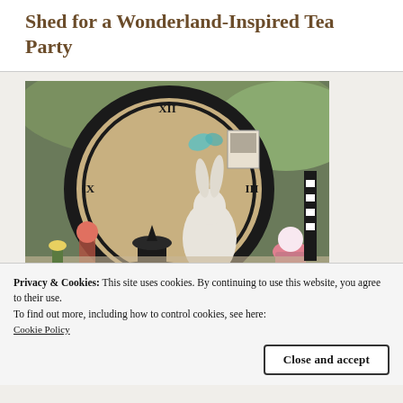Shed for a Wonderland-Inspired Tea Party
[Figure (photo): A Wonderland-inspired tea party table setup with a large vintage clock face in the background, a white rabbit statue, black ornamental cake stand piece, colorful decorations, cupcakes, and whimsical party items. Shot from above/angle in an outdoor shed setting.]
Privacy & Cookies: This site uses cookies. By continuing to use this website, you agree to their use.
To find out more, including how to control cookies, see here: Cookie Policy